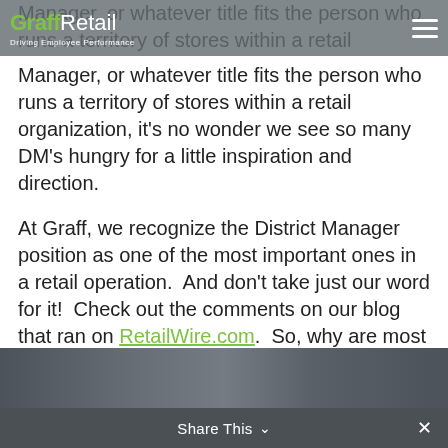GraffRetail — Driving Employee Performance
Manager, or whatever title fits the person who runs a territory of stores within a retail organization, it's no wonder we see so many DM's hungry for a little inspiration and direction.
At Graff, we recognize the District Manager position as one of the most important ones in a retail operation.  And don't take just our word for it!  Check out the comments on our blog that ran on RetailWire.com.  So, why are most DM's left to travel between stores with little to no direction and sense of purpose?
[Figure (photo): Partial image of people, appearing at the bottom of the page]
Share This ∨  ✕